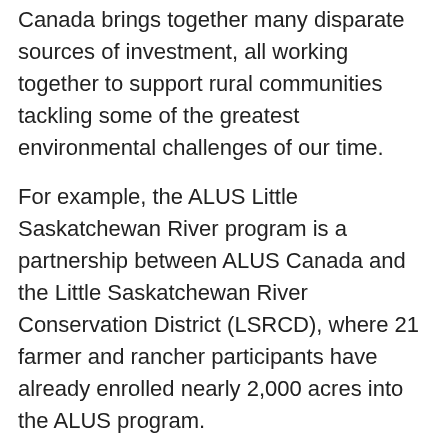Canada brings together many disparate sources of investment, all working together to support rural communities tackling some of the greatest environmental challenges of our time.
For example, the ALUS Little Saskatchewan River program is a partnership between ALUS Canada and the Little Saskatchewan River Conservation District (LSRCD), where 21 farmer and rancher participants have already enrolled nearly 2,000 acres into the ALUS program.
"Over the last four years, ALUS has been a great tool in our toolbox at the Conservation District," said LSRCD Manager Colleen Cuvelier.
"It has encouraged farmers and ranchers to maintain and restore natural areas that produce